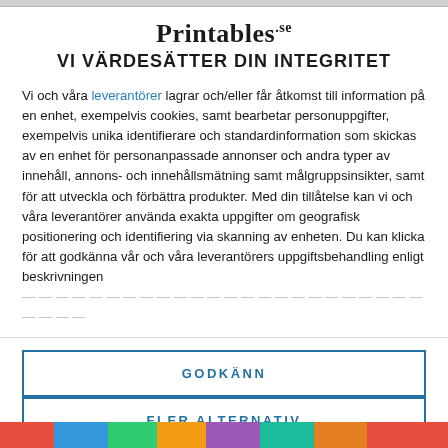Printables.se VI VÄRDESÄTTER DIN INTEGRITET
Vi och våra leverantörer lagrar och/eller får åtkomst till information på en enhet, exempelvis cookies, samt bearbetar personuppgifter, exempelvis unika identifierare och standardinformation som skickas av en enhet för personanpassade annonser och andra typer av innehåll, annons- och innehållsmätning samt målgruppsinsikter, samt för att utveckla och förbättra produkter. Med din tillåtelse kan vi och våra leverantörer använda exakta uppgifter om geografisk positionering och identifiering via skanning av enheten. Du kan klicka för att godkänna vår och våra leverantörers uppgiftsbehandling enligt beskrivningen
GODKÄNN
FLER ALTERNATIV